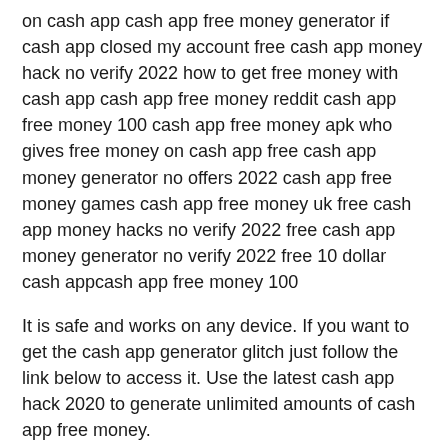on cash app cash app free money generator if cash app closed my account free cash app money hack no verify 2022 how to get free money with cash app cash app free money reddit cash app free money 100 cash app free money apk who gives free money on cash app free cash app money generator no offers 2022 cash app free money games cash app free money uk free cash app money hacks no verify 2022 free cash app money generator no verify 2022 free 10 dollar cash appcash app free money 100
It is safe and works on any device. If you want to get the cash app generator glitch just follow the link below to access it. Use the latest cash app hack 2020 to generate unlimited amounts of cash app free money.
Click Here --> https://wikiredeem.com/cashapp/
Click Here --> https://wikiredeem.com/cashapp/